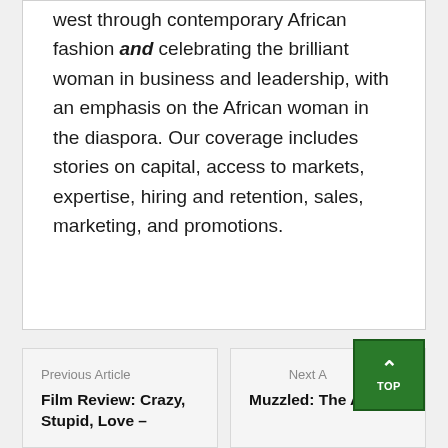west through contemporary African fashion and celebrating the brilliant woman in business and leadership, with an emphasis on the African woman in the diaspora. Our coverage includes stories on capital, access to markets, expertise, hiring and retention, sales, marketing, and promotions.
Previous Article
Film Review: Crazy, Stupid, Love –
Next A
Muzzled: The Assault